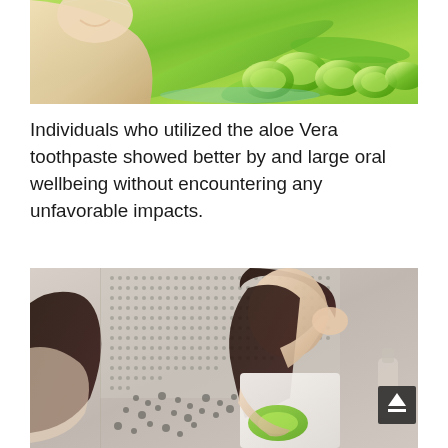[Figure (photo): Woman smiling with aloe vera leaves and sliced aloe pieces in the foreground, green nature background]
Individuals who utilized the aloe Vera toothpaste showed better by and large oral wellbeing without encountering any unfavorable impacts.
[Figure (photo): Woman applying aloe vera gel to her face while looking in a bathroom mirror, holding a green aloe slice, tiled wall background with dot pattern]